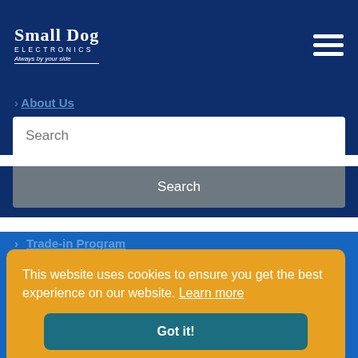Small Dog Electronics — Always by your side
> About Us
Search
Search
> Trade-in Program
> Return Policy
> Privacy policy
This website uses cookies to ensure you get the best experience on our website. Learn more
Got it!
MON-FRI: 10AM-6PM